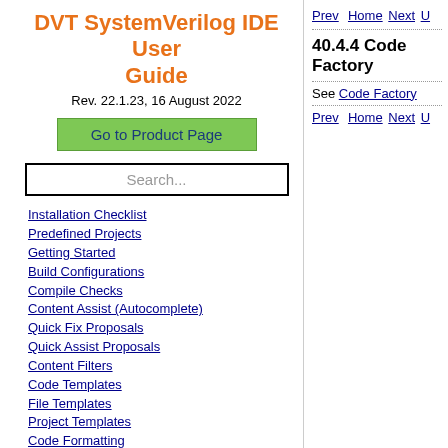DVT SystemVerilog IDE User Guide
Rev. 22.1.23, 16 August 2022
Go to Product Page
Search...
Installation Checklist
Predefined Projects
Getting Started
Build Configurations
Compile Checks
Content Assist (Autocomplete)
Quick Fix Proposals
Quick Assist Proposals
Content Filters
Code Templates
File Templates
Project Templates
Code Formatting
Override Functions
Generate Getters and Setters
Module Automatic Instantiation
Semantic Search
Show Usages, Readers or Writers
Prev  Home  Next  U
40.4.4 Code Factory
See Code Factory
Prev  Home  Next  U